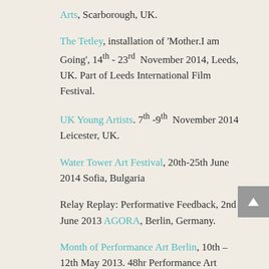Arts, Scarborough, UK.
The Tetley, installation of 'Mother.I am Going', 14th - 23rd November 2014, Leeds, UK. Part of Leeds International Film Festival.
UK Young Artists. 7th -9th November 2014 Leicester, UK.
Water Tower Art Festival, 20th-25th June 2014 Sofia, Bulgaria
Relay Replay: Performative Feedback, 2nd June 2013 AGORA, Berlin, Germany.
Month of Performance Art Berlin, 10th – 12th May 2013. 48hr Performance Art Marathon, Berlin, Germany.
26th Leeds International Film Festival, 12th November